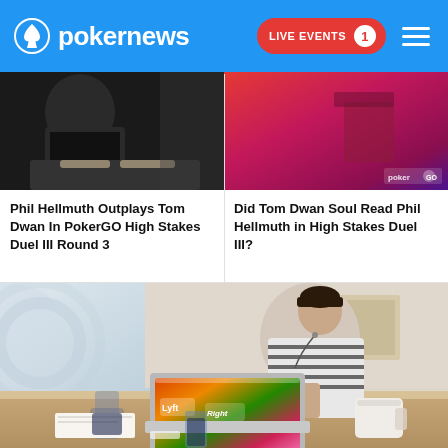pokernews — LIVE EVENTS 1
[Figure (photo): Photo of Phil Hellmuth and Tom Dwan at PokerGO High Stakes Duel, dark tones showing player at keyboard]
Phil Hellmuth Outplays Tom Dwan In PokerGO High Stakes Duel III Round 3
[Figure (photo): Photo related to Tom Dwan soul reading Phil Hellmuth, pink/red toned image with poker table]
Did Tom Dwan Soul Read Phil Hellmuth in High Stakes Duel III?
[Figure (photo): Photo of a man in a striped shirt working on a colorful sticker-covered laptop at a café/restaurant table with drinks and papers]